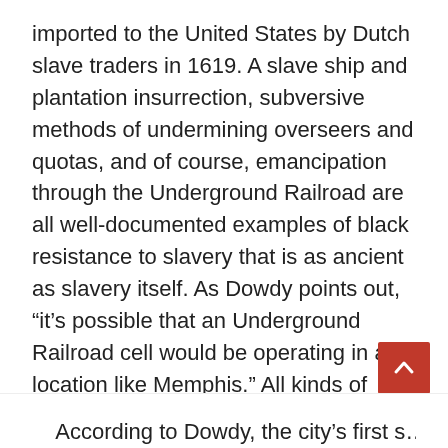imported to the United States by Dutch slave traders in 1619. A slave ship and plantation insurrection, subversive methods of undermining overseers and quotas, and of course, emancipation through the Underground Railroad are all well-documented examples of black resistance to slavery that is as ancient as slavery itself. As Dowdy points out, “it’s possible that an Underground Railroad cell would be operating in a location like Memphis.” All kinds of people and things passed through Memphis, which was the only site in the region where people could work, trade, stock up on supplies, and cross the Mississippi River.